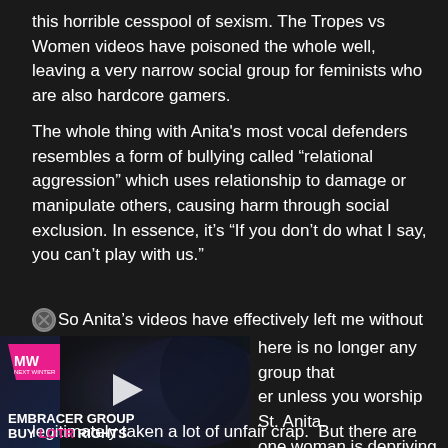this horrible cesspool of sexism.  The Tropes vs Women videos have poisoned the whole well, leaving a very narrow social group for feminists who are also hardcore gamers.
The whole thing with Anita's most vocal defenders resembles a form of bullying called “relational aggression” which uses relationship to damage or manipulate others, causing harm through social exclusion.  In essence, it’s “If you don’t do what I say, you can’t play with us.”
So Anita’s videos have effectively left me without a natural peer here is no longer any group that er unless you worship St. Anita. one woman is depriving me of a ed. Anita is not ruining video oduct away.  Yes, she has legitimately taken a lot of unfair crap.  But there are real, practical things we need to address to make the playing field
[Figure (screenshot): Video advertisement overlay with pink MW logo, play button, and text reading EMBRACER GROUP BUY LOTR RIGHTS over a dark background with a person’s silhouette]